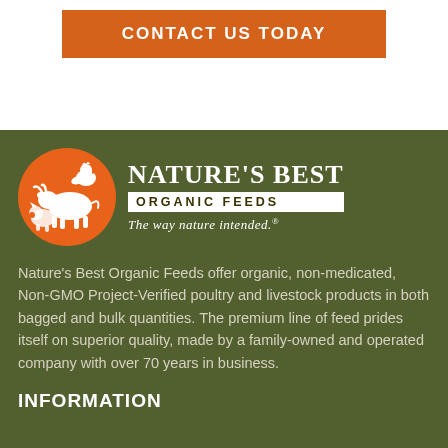CONTACT US TODAY
[Figure (logo): Nature's Best Organic Feeds logo — orange circle with farm animal silhouettes (cow, pig, chicken, sheep) on the left; bold serif text 'NATURE'S BEST' above a white banner reading 'ORGANIC FEEDS' and italic tagline 'The way nature intended.']
Nature's Best Organic Feeds offer organic, non-medicated, Non-GMO Project-Verified poultry and livestock products in both bagged and bulk quantities. The premium line of feed prides itself on superior quality, made by a family-owned and operated company with over 70 years in business.
INFORMATION